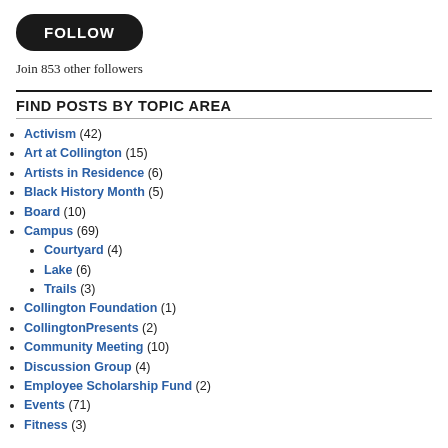[Figure (other): Black rounded rectangle button with white bold text 'FOLLOW']
Join 853 other followers
FIND POSTS BY TOPIC AREA
Activism (42)
Art at Collington (15)
Artists in Residence (6)
Black History Month (5)
Board (10)
Campus (69)
Courtyard (4)
Lake (6)
Trails (3)
Collington Foundation (1)
CollingtonPresents (2)
Community Meeting (10)
Discussion Group (4)
Employee Scholarship Fund (2)
Events (71)
Fitness (3)